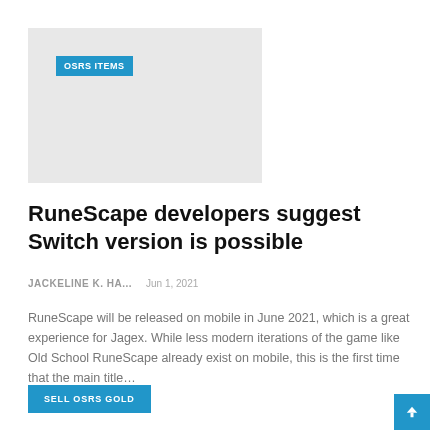[Figure (other): Gray placeholder banner image with OSRS ITEMS label in top-left corner]
RuneScape developers suggest Switch version is possible
JACKELINE K. HA...    Jun 1, 2021
RuneScape will be released on mobile in June 2021, which is a great experience for Jagex. While less modern iterations of the game like Old School RuneScape already exist on mobile, this is the first time that the main title...